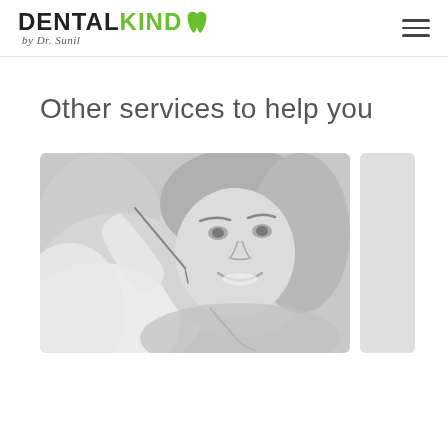[Figure (logo): DentalKind by Dr. Sunil logo — DENTAL in dark/black bold, KIND in green bold, a green tooth icon, and cursive 'by Dr. Sunil' below]
Other services to help you
[Figure (photo): Black and white photo of a smiling young woman at the dentist, with a gloved hand holding dental tools near her mouth]
[Figure (photo): Partial view of a second photo (light grey/partial) on the right side]